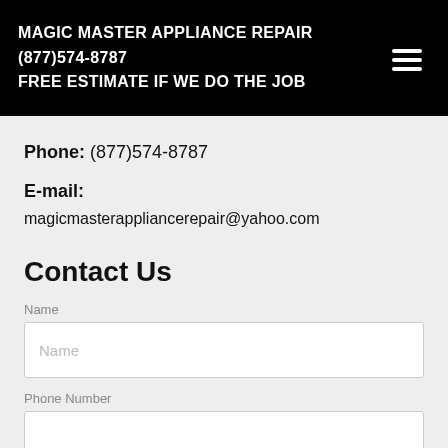MAGIC MASTER APPLIANCE REPAIR
(877)574-8787
FREE ESTIMATE IF WE DO THE JOB
Phone: (877)574-8787
E-mail:
magicmasterappliancerepair@yahoo.com
Contact Us
Name
Name
Phone Number